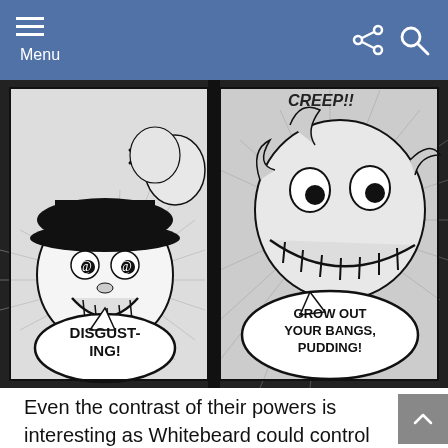Menu
[Figure (illustration): Black and white manga panel from One Piece. Left side shows a character with a wide grin and dark cap with speech bubble reading 'DISGUST-ING!' and right side shows a large menacing face with a speech bubble reading 'GROW OUT YOUR BANGS, PUDDING!' with text 'CREEP!!' partially visible at top.]
Even the contrast of their powers is interesting as Whitebeard could control the land and sea with his